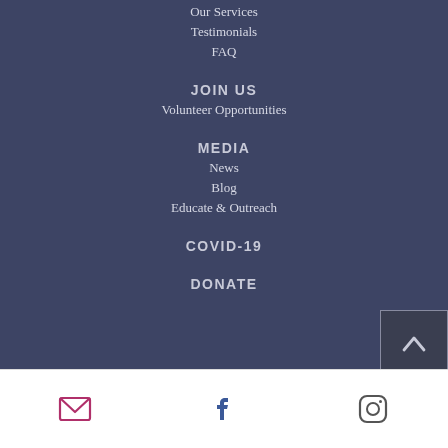Our Services
Testimonials
FAQ
JOIN US
Volunteer Opportunities
MEDIA
News
Blog
Educate & Outreach
COVID-19
DONATE
[Figure (illustration): Email icon, Facebook icon, Instagram icon in white footer bar]